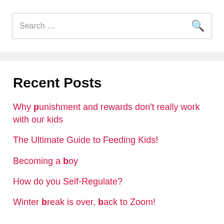[Figure (screenshot): Search input box with placeholder text 'Search ...' and a search magnifying glass icon on the right]
Recent Posts
Why punishment and rewards don't really work with our kids
The Ultimate Guide to Feeding Kids!
Becoming a boy
How do you Self-Regulate?
Winter break is over, back to Zoom!